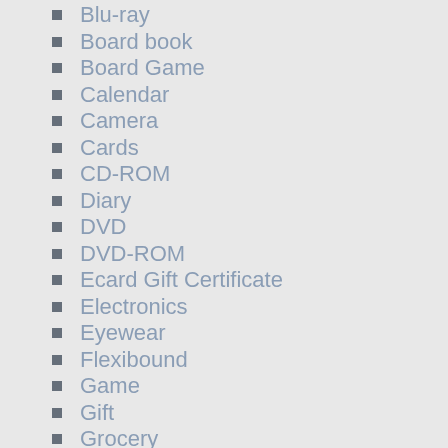Blu-ray
Board book
Board Game
Calendar
Camera
Cards
CD-ROM
Diary
DVD
DVD-ROM
Ecard Gift Certificate
Electronics
Eyewear
Flexibound
Game
Gift
Grocery